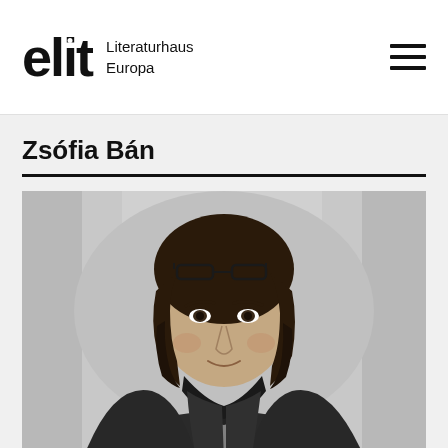elit Literaturhaus Europa
Zsófia Bán
[Figure (photo): Black and white portrait photograph of Zsófia Bán, a woman with dark shoulder-length hair, glasses resting on top of her head, wearing a dark scarf and leather jacket, looking slightly to the side against a light grey background.]